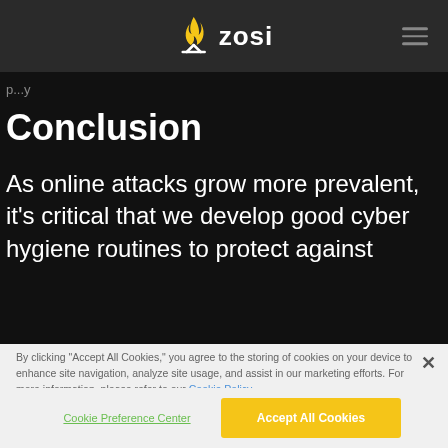ZOSI
p...y
Conclusion
As online attacks grow more prevalent, it's critical that we develop good cyber hygiene routines to protect against
By clicking “Accept All Cookies,” you agree to the storing of cookies on your device to enhance site navigation, analyze site usage, and assist in our marketing efforts. For more information, please refer to our Cookie Policy
Cookie Preference Center
Accept All Cookies